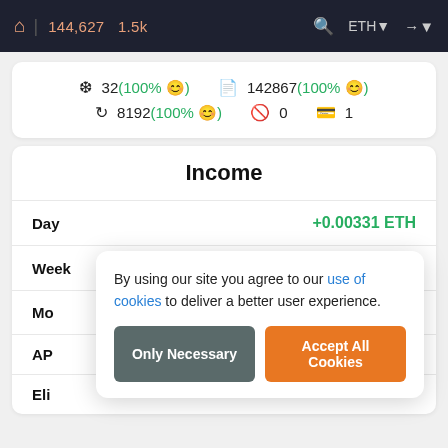144,627  1.5k  ETH
32(100% 😊)  142867(100% 😊)  8192(100% 😊)  0  1
Income
Day  +0.00331 ETH
Week  +0.0231 ETH
By using our site you agree to our use of cookies to deliver a better user experience.
Only Necessary  Accept All Cookies